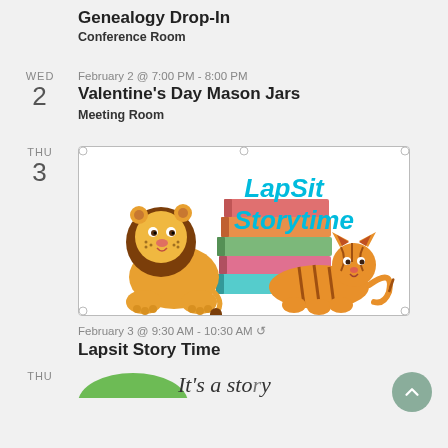Genealogy Drop-In
Conference Room
WED
2
February 2 @ 7:00 PM - 8:00 PM
Valentine's Day Mason Jars
Meeting Room
THU
3
[Figure (illustration): LapSit Storytime banner with cartoon lion and tiger next to a stack of colorful books, text reads 'LapSit Storytime' in cyan]
February 3 @ 9:30 AM - 10:30 AM ↺
Lapsit Story Time
THU